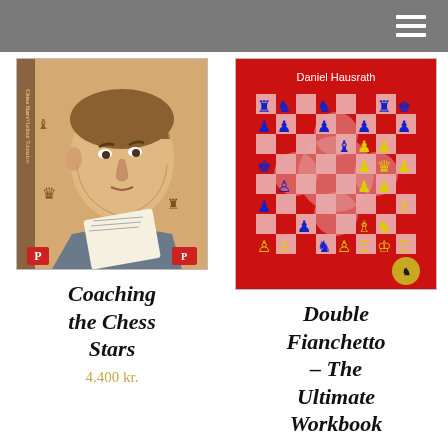Navigation menu
[Figure (illustration): Book cover for 'Coaching the Chess Stars' showing a painted illustration of a man studying chess with chess pieces around him, published by Quality Chess]
Coaching the Chess Stars
4.400 kr.
[Figure (illustration): Book cover for 'Double Fianchetto – The Ultimate Workbook' by Daniel Hausrath, red cover with a chess board illustration showing fianchetto patterns in blue and yellow]
Double Fianchetto – The Ultimate Workbook